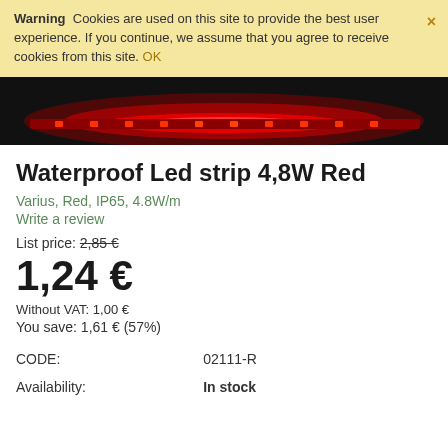Warning  Cookies are used on this site to provide the best user experience. If you continue, we assume that you agree to receive cookies from this site. OK
[Figure (photo): Red LED strip light glowing on dark background]
Waterproof Led strip 4,8W Red
Varius, Red, IP65, 4.8W/m
Write a review
List price: 2,85 €
1,24 €
Without VAT: 1,00 €
You save: 1,61 € (57%)
| CODE: | 02111-R |
| Availability: | In stock |